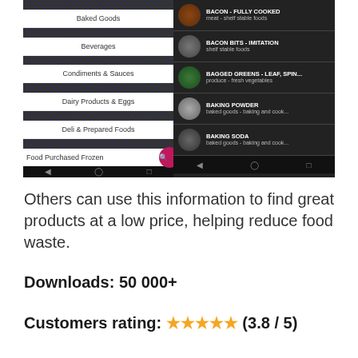[Figure (screenshot): Two mobile app screenshots side by side. Left: a food category list menu (Baked Goods, Beverages, Condiments & Sauces, Dairy Products & Eggs, Deli & Prepared Foods, Food Purchased Frozen) with a search button. Right: a dark-themed list of food items (BACON - FULLY COOKED, BACON BITS - IMITATION, BAGGED GREENS - LEAF SPIN..., BAKING POWDER, BAKING SODA) each with a thumbnail image, name, and category.]
Others can use this information to find great products at a low price, helping reduce food waste.
Downloads: 50 000+
Customers rating: ★★★★★ (3.8 / 5)